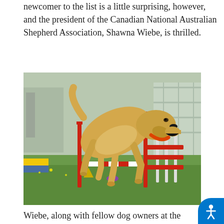newcomer to the list is a little surprising, however, and the president of the Canadian National Australian Shepherd Association, Shawna Wiebe, is thrilled.
[Figure (photo): A yellow Labrador Retriever wearing an orange collar leaping over a red and white agility jump bar on a green grass field. Colorful agility equipment visible in the background.]
Wiebe, along with fellow dog owners at the Canadianvp company, was thrilled to hear that the Australian Shepherd